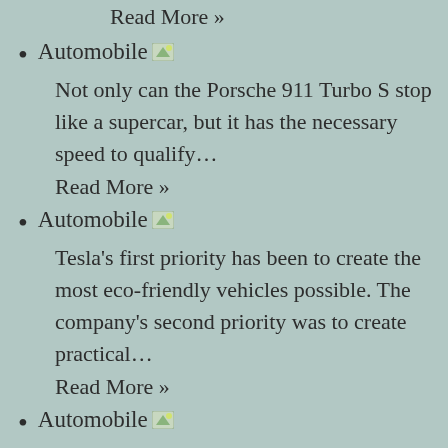Read More »
Automobile [icon]
Not only can the Porsche 911 Turbo S stop like a supercar, but it has the necessary speed to qualify…
Read More »
Automobile [icon]
Tesla's first priority has been to create the most eco-friendly vehicles possible. The company's second priority was to create practical…
Read More »
Automobile [icon]
Boating safety is essential when…